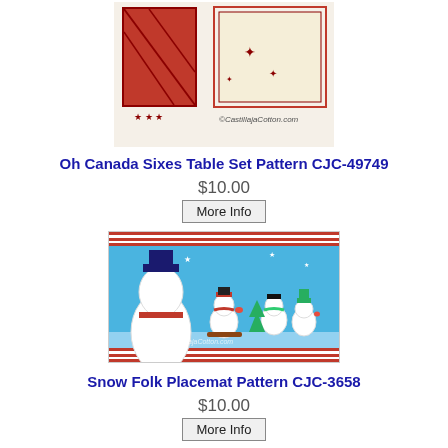[Figure (photo): Quilt table set pattern photo showing red and cream patchwork design with leaf/star motifs, with CastillajaCotton.com watermark]
Oh Canada Sixes Table Set Pattern CJC-49749
$10.00
More Info
[Figure (photo): Snow Folk Placemat pattern photo showing snowmen characters on blue background with red and white striped border, winter scene with sledding and Christmas trees]
Snow Folk Placemat Pattern CJC-3658
$10.00
More Info
[Figure (photo): Partial view of another quilt/table runner pattern with dark background showing decorative holiday motifs]